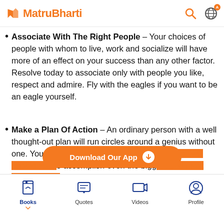MatruBharti
Associate With The Right People – Your choices of people with whom to live, work and socialize will have more of an effect on your success than any other factor. Resolve today to associate only with people you like, respect and admire. Fly with the eagles if you want to be an eagle yourself.
Make a Plan Of Action – An ordinary person with a well thought-out plan will run circles around a genius without one. Your ability to plan and organize in advance will enable you to accomplish even the biggest and most challenging goals.
[Figure (screenshot): Download Our App orange CTA button with download arrow icon]
Books  Quotes  Videos  Profile